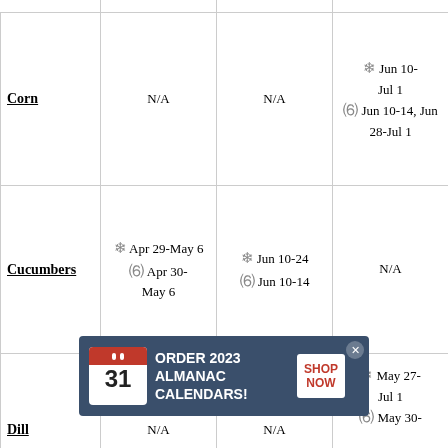| Vegetable | Col2 | Col3 | Col4 |
| --- | --- | --- | --- |
|  |  |  | Jun 10 |
| Corn | N/A | N/A | ❄ Jun 10-Jul 1
☽ Jun 10-14, Jun 28-Jul 1 |
| Cucumbers | ❄ Apr 29-May 6
☽ Apr 30-May 6 | ❄ Jun 10-24
☽ Jun 10-14 | N/A |
| Dill | N/A | N/A | ❄ May 27-Jul 1
☽ May 30- |
| Eggplant (partial) |  | Apr 1-15 | Jun 10-14 |
[Figure (other): Advertisement banner: ORDER 2023 ALMANAC CALENDARS! with calendar icon and SHOP NOW button]